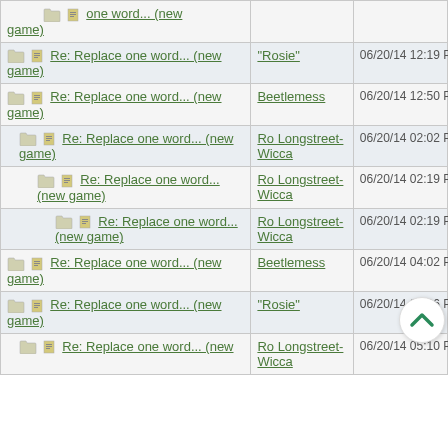| Thread | Author | Date |
| --- | --- | --- |
| Re: Replace one word... (new game) |  |  |
| Re: Replace one word... (new game) | "Rosie" | 06/20/14 12:19 PM |
| Re: Replace one word... (new game) | Beetlemess | 06/20/14 12:50 PM |
| Re: Replace one word... (new game) | Ro Longstreet-Wicca | 06/20/14 02:02 PM |
| Re: Replace one word... (new game) | Ro Longstreet-Wicca | 06/20/14 02:19 PM |
| Re: Replace one word... (new game) | Ro Longstreet-Wicca | 06/20/14 02:19 PM |
| Re: Replace one word... (new game) | Beetlemess | 06/20/14 04:02 PM |
| Re: Replace one word... (new game) | "Rosie" | 06/20/14 04:36 PM |
| Re: Replace one word... (new game) | Ro Longstreet-Wicca | 06/20/14 05:10 PM |